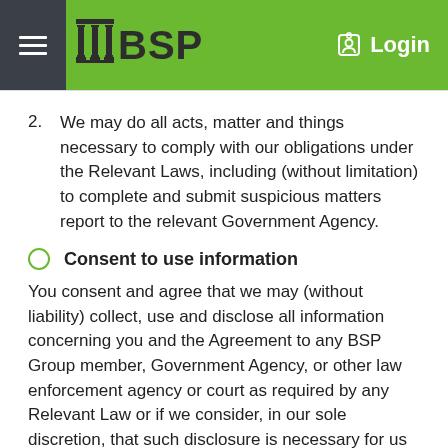BSP Login
We may do all acts, matter and things necessary to comply with our obligations under the Relevant Laws, including (without limitation) to complete and submit suspicious matters report to the relevant Government Agency.
Consent to use information
You consent and agree that we may (without liability) collect, use and disclose all information concerning you and the Agreement to any BSP Group member, Government Agency, or other law enforcement agency or court as required by any Relevant Law or if we consider, in our sole discretion, that such disclosure is necessary for us or for you to comply with the Relevant Laws.